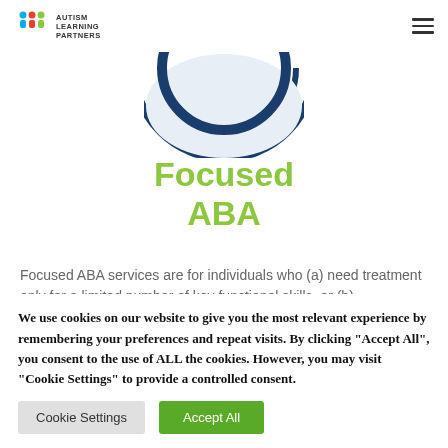Autism Learning Partners
[Figure (logo): Circular icon with dark blue arc lines on light background, partially visible at top]
Focused ABA
Focused ABA services are for individuals who (a) need treatment only for a limited number of key functional skills, or (b)...
We use cookies on our website to give you the most relevant experience by remembering your preferences and repeat visits. By clicking "Accept All", you consent to the use of ALL the cookies. However, you may visit "Cookie Settings" to provide a controlled consent.